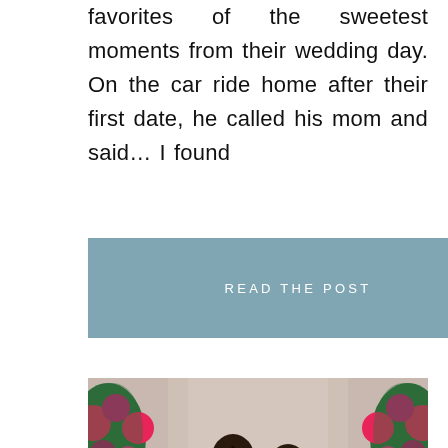favorites of the sweetest moments from their wedding day. On the car ride home after their first date, he called his mom and said… I found
READ THE POST
[Figure (photo): A couple kissing in front of a floral arch with bright pink and purple flowers and greenery, with a draping curtain background.]